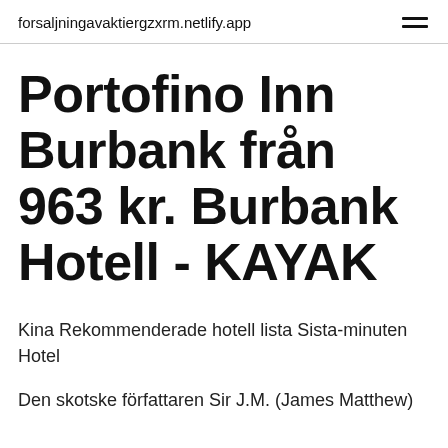forsaljningavaktiergzxrm.netlify.app
Portofino Inn Burbank från 963 kr. Burbank Hotell - KAYAK
Kina Rekommenderade hotell lista Sista-minuten Hotel
Den skotske författaren Sir J.M. (James Matthew)